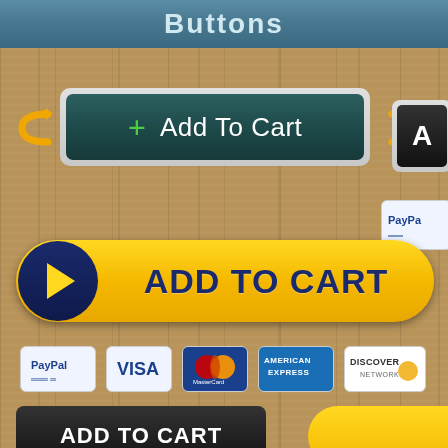Buttons
[Figure (screenshot): Teal 'Add To Cart' button with green plus icon, surrounded by orange curved arrows on a wood background]
[Figure (screenshot): Yellow 'ADD TO CART' button with dark navy blue circle and play triangle icon]
[Figure (screenshot): Row of payment icons: PayPal, VISA, MasterCard, American Express, Discover Network]
[Figure (screenshot): Black 'ADD TO CART' button and partial yellow button at bottom]